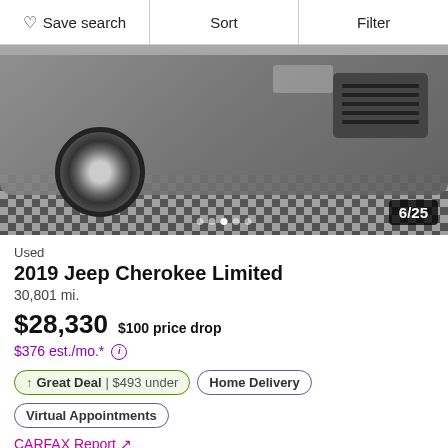Save search | Sort | Filter
[Figure (photo): A gray 2019 Jeep Cherokee Limited SUV photographed in a dealership with a checkered floor, showing front 3/4 view. Image counter shows 6/25.]
Used
2019 Jeep Cherokee Limited
30,801 mi.
$28,330   $100 price drop
$376 est./mo.*
↑ Great Deal | $493 under
Home Delivery
Virtual Appointments
CARFAX Report ↗